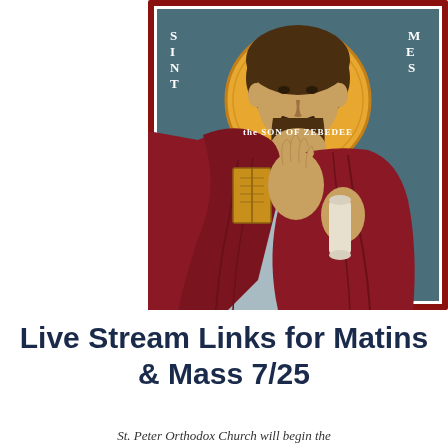[Figure (illustration): Orthodox icon of Saint James the Son of Zebedee, depicted in the Byzantine style with a golden halo, wearing a dark red/maroon robe over a blue-grey garment, holding a book and a scroll, with Greek/church text reading 'SAINT JAMES THE SON OF ZEBEDEE'. The icon has a dark red border.]
Live Stream Links for Matins & Mass 7/25
St. Peter Orthodox Church will begin the